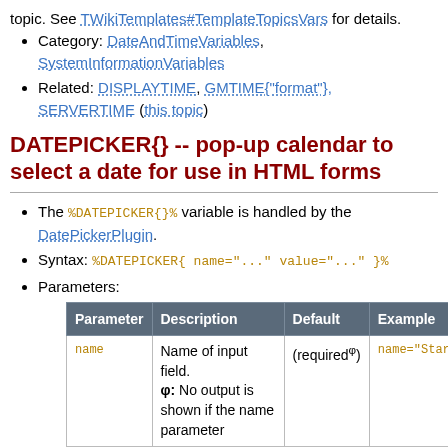topic. See TWikiTemplates#TemplateTopicsVars for details.
Category: DateAndTimeVariables, SystemInformationVariables
Related: DISPLAYTIME, GMTIME{"format"}, SERVERTIME (this topic)
DATEPICKER{} -- pop-up calendar to select a date for use in HTML forms
The %DATEPICKER{}% variable is handled by the DatePickerPlugin.
Syntax: %DATEPICKER{ name="..." value="..." }%
Parameters:
| Parameter | Description | Default | Example |
| --- | --- | --- | --- |
| name | Name of input field.
φ: No output is shown if the name parameter | (requiredφ) | name="Start |